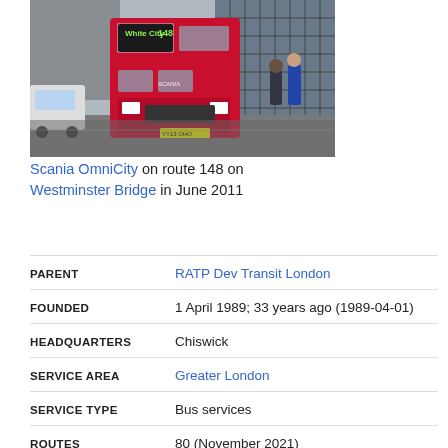[Figure (photo): Red double-decker Scania OmniCity bus on route 148 showing White City destination, on Westminster Bridge in June 2011, with pedestrians and city buildings in background]
Scania OmniCity on route 148 on Westminster Bridge in June 2011
| Field | Value |
| --- | --- |
| PARENT | RATP Dev Transit London |
| FOUNDED | 1 April 1989; 33 years ago (1989-04-01) |
| HEADQUARTERS | Chiswick |
| SERVICE AREA | Greater London |
| SERVICE TYPE | Bus services |
| ROUTES | 80 (November 2021) |